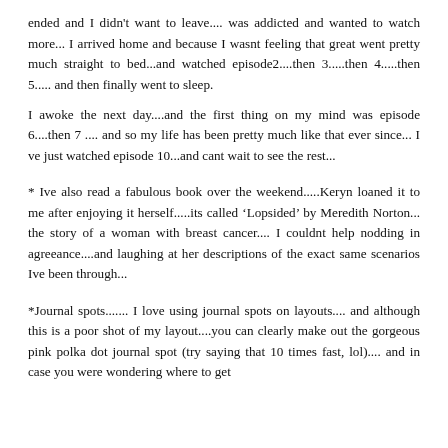ended and I didn't want to leave.... was addicted and wanted to watch more... I arrived home and because I wasnt feeling that great went pretty much straight to bed...and watched episode2....then 3.....then 4.....then 5..... and then finally went to sleep.
I awoke the next day....and the first thing on my mind was episode 6....then 7 .... and so my life has been pretty much like that ever since... I ve just watched episode 10...and cant wait to see the rest...
* Ive also read a fabulous book over the weekend.....Keryn loaned it to me after enjoying it herself.....its called 'Lopsided' by Meredith Norton... the story of a woman with breast cancer.... I couldnt help nodding in agreeance....and laughing at her descriptions of the exact same scenarios Ive been through...
*Journal spots....... I love using journal spots on layouts.... and although this is a poor shot of my layout....you can clearly make out the gorgeous pink polka dot journal spot (try saying that 10 times fast, lol).... and in case you were wondering where to get